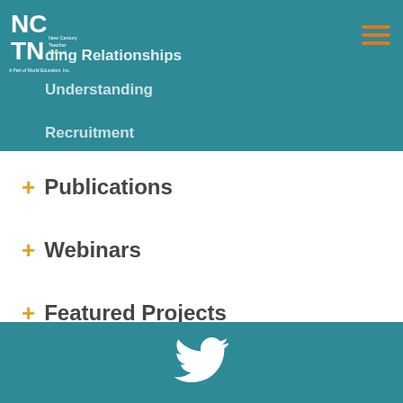[Figure (logo): NCTN logo - New Century Teacher Network, A Part of World Education Inc.]
Building Relationships
Understanding
Recruitment
+ Publications
+ Webinars
+ Featured Projects
[Figure (logo): Twitter bird icon in white on teal footer background]